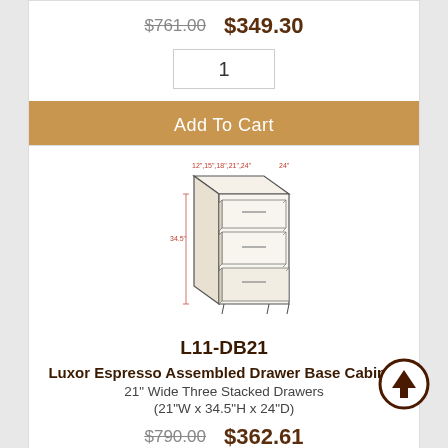$761.00  $349.30
1
Add To Cart
[Figure (illustration): Engineering-style line drawing of a drawer base cabinet showing three stacked drawers, with red dimension annotations: 12", 15", 18", 21", 24" (width options) and 34.5" (height)]
L11-DB21
Luxor Espresso Assembled Drawer Base Cabinet
21" Wide Three Stacked Drawers
(21"W x 34.5"H x 24"D)
$790.00  $362.61
1
Add To Cart